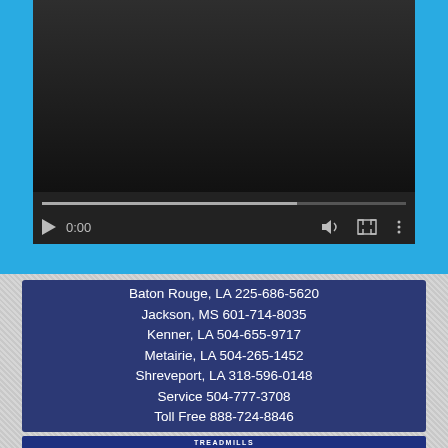[Figure (screenshot): Video player with dark background, play button, 0:00 time display, volume icon, fullscreen icon, options icon, and a gray progress bar at the bottom. Set against a light blue (#29ABE2) background.]
Baton Rouge, LA 225-686-5620
Jackson, MS 601-714-8035
Kenner, LA 504-655-9717
Metairie, LA 504-265-1452
Shreveport, LA 318-596-0148
Service 504-777-3708
Toll Free 888-724-8846
TREADMILLS